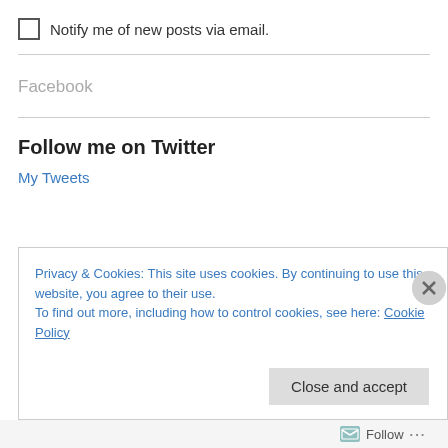Notify me of new posts via email.
Facebook
Follow me on Twitter
My Tweets
Privacy & Cookies: This site uses cookies. By continuing to use this website, you agree to their use.
To find out more, including how to control cookies, see here: Cookie Policy
Close and accept
Follow